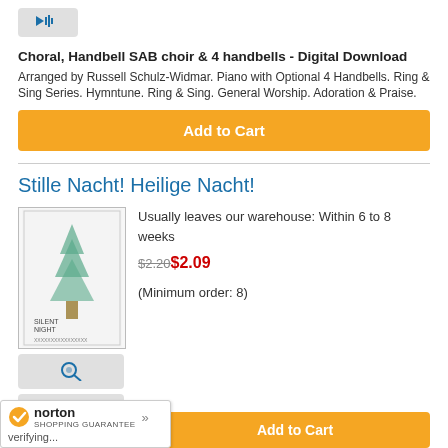[Figure (other): Audio/speaker icon button (gray background)]
Choral, Handbell SAB choir & 4 handbells - Digital Download
Arranged by Russell Schulz-Widmar. Piano with Optional 4 Handbells. Ring & Sing Series. Hymntune. Ring & Sing. General Worship. Adoration & Praise.
Add to Cart
Stille Nacht! Heilige Nacht!
[Figure (photo): Sheet music cover for Silent Night (Stille Nacht)]
[Figure (other): Magnifying glass / preview icon button]
[Figure (other): Audio/speaker icon button]
Usually leaves our warehouse: Within 6 to 8 weeks
$2.20$2.09
(Minimum order: 8)
SATB choir - Intermediate
Holy Night!. Composed by Franz Xaver Gruber. Arranged by Widmar. Christmastide, Christmas Vigil, Christmas Night,
Add to Cart
[Figure (logo): Norton Shopping Guarantee badge with checkmark]